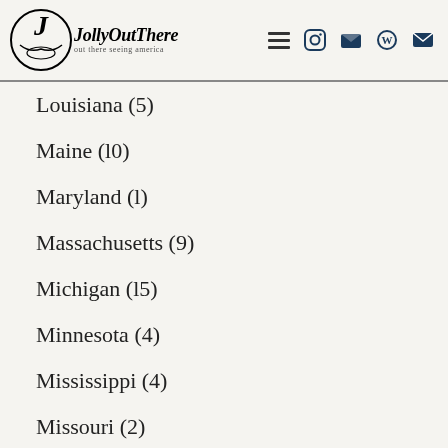JollyOutThere — out there seeing america
Louisiana (5)
Maine (10)
Maryland (1)
Massachusetts (9)
Michigan (15)
Minnesota (4)
Mississippi (4)
Missouri (2)
Montana (5)
Nebraska (3)
Nevada (5)
New Hampshire (3)